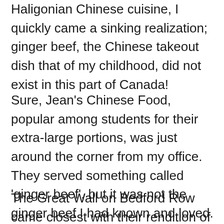Haligonian Chinese cuisine, I quickly came a sinking realization; ginger beef, the Chinese takeout dish that of my childhood, did not exist in this part of Canada!
Sure, Jean's Chinese Food, popular among students for their extra-large portions, was just around the corner from my office. They served something called ‘ginger beef’, but it was not the ginger beef I had known and loved. Black sludge served over soggy beef was a more apt description.
The Great Wall on Bedford Row came closest with their rendition of ginger beef; the sauce was the right consistency